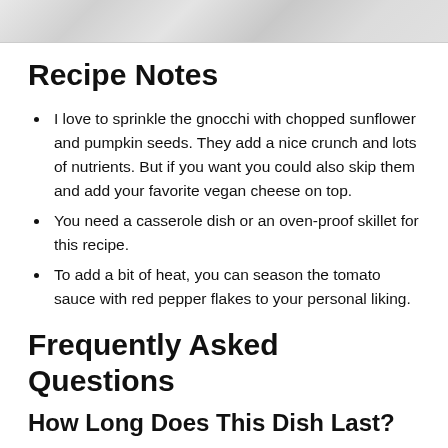[Figure (photo): Marble texture background image at the top of the page]
Recipe Notes
I love to sprinkle the gnocchi with chopped sunflower and pumpkin seeds. They add a nice crunch and lots of nutrients. But if you want you could also skip them and add your favorite vegan cheese on top.
You need a casserole dish or an oven-proof skillet for this recipe.
To add a bit of heat, you can season the tomato sauce with red pepper flakes to your personal liking.
Frequently Asked Questions
How Long Does This Dish Last?